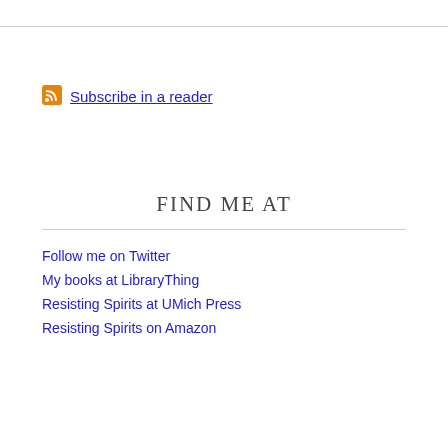[Figure (other): RSS feed icon (orange square with white RSS signal symbol) next to subscribe link]
Subscribe in a reader
FIND ME AT
Follow me on Twitter
My books at LibraryThing
Resisting Spirits at UMich Press
Resisting Spirits on Amazon